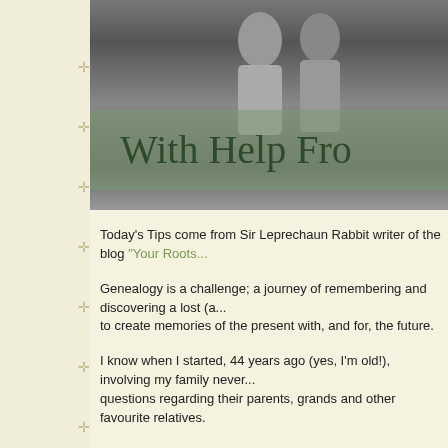[Figure (photo): Black and white photograph of people, partially visible, with a green semi-transparent overlay banner showing the text 'With Help Fro...']
With Help Fro...
Today's Tips come from Sir Leprechaun Rabbit writer of the blog "Your Roots..."
Genealogy is a challenge; a journey of remembering and discovering a lost (a... to create memories of the present with, and for, the future.
I know when I started, 44 years ago (yes, I'm old!), involving my family never... questions regarding their parents, grands and other favourite relatives.
If I knew then what I do now, a few things would be different and done a lot s...
(1) Share (bedtime) stories!
Who read to you when you were small? What stories do you remember?